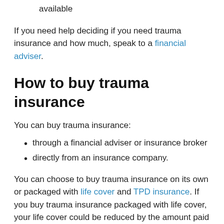available
If you need help deciding if you need trauma insurance and how much, speak to a financial adviser.
How to buy trauma insurance
You can buy trauma insurance:
through a financial adviser or insurance broker
directly from an insurance company.
You can choose to buy trauma insurance on its own or packaged with life cover and TPD insurance. If you buy trauma insurance packaged with life cover, your life cover could be reduced by the amount paid out on a trauma claim. To see if this applies to a policy, read the PDS or ask your insurer.
Super funds no longer offer new trauma insurance